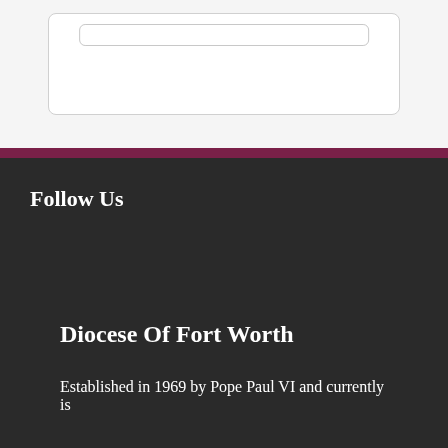[Figure (screenshot): Top section with white card/box and inner rounded bar element on light gray background]
Follow Us
Diocese Of Fort Worth
Established in 1969 by Pope Paul VI and currently is